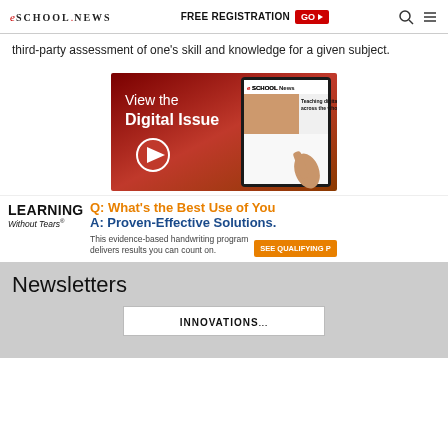eSchool News | FREE REGISTRATION GO
third-party assessment of one's skill and knowledge for a given subject.
[Figure (screenshot): Advertisement for eSchool News digital issue showing a tablet with 'View the Digital Issue' text and a play button on a red background]
[Figure (infographic): Learning Without Tears advertisement: Q: What's the Best Use of Your... A: Proven-Effective Solutions. This evidence-based handwriting program delivers results you can count on. SEE QUALIFYING P...]
Newsletters
INNOVATIONS...